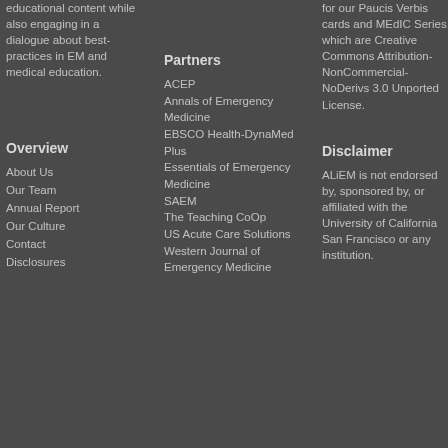educational content while also engaging in a dialogue about best-practices in EM and medical education.
Overview
About Us
Our Team
Annual Report
Our Culture
Contact
Disclosures
Partners
ACEP
Annals of Emergency Medicine
EBSCO Health-DynaMed Plus
Essentials of Emergency Medicine
SAEM
The Teaching CoOp
US Acute Care Solutions
Western Journal of Emergency Medicine
for our Paucis Verbis cards and MEdIC Series, which are Creative Commons Attribution-NonCommercial-NoDerivs 3.0 Unported License.
Disclaimer
ALiEM is not endorsed by, sponsored by, or affiliated with the University of California San Francisco or any institution.